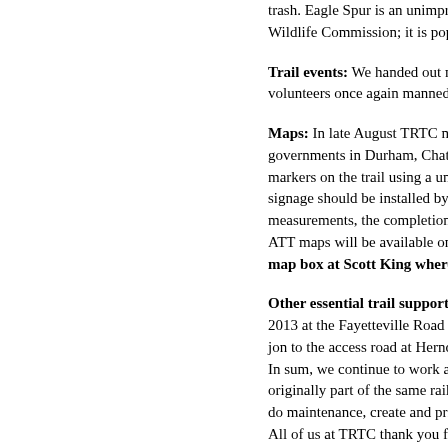trash. Eagle Spur is an unimproved rural Wildlife Commission; it is popular with f
Trail events: We handed out maps and in volunteers once again manned a rest stop
Maps: In late August TRTC measured an governments in Durham, Chatham and W markers on the trail using a unitary north signage should be installed by these gove measurements, the completion of Phase E ATT maps will be available on our site in map box at Scott King where you can g
Other essential trail support: We contir 2013 at the Fayetteville Road parking tra jon to the access road at Herndon Park in In sum, we continue to work as volunteer originally part of the same rail line) great do maintenance, create and print trail ma All of us at TRTC thank you for your co membership and making a tax-deductible